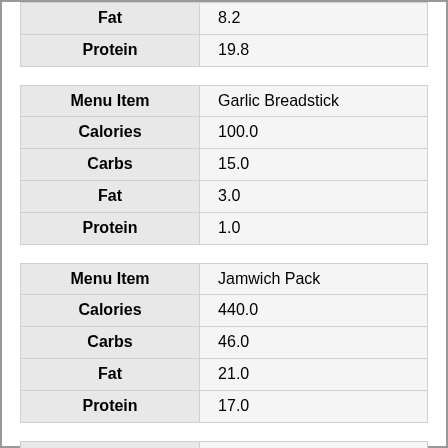| Field | Value |
| --- | --- |
| Fat | 8.2 |
| Protein | 19.8 |
| Field | Value |
| --- | --- |
| Menu Item | Garlic Breadstick |
| Calories | 100.0 |
| Carbs | 15.0 |
| Fat | 3.0 |
| Protein | 1.0 |
| Field | Value |
| --- | --- |
| Menu Item | Jamwich Pack |
| Calories | 440.0 |
| Carbs | 46.0 |
| Fat | 21.0 |
| Protein | 17.0 |
| Field | Value |
| --- | --- |
| Menu Item | Assorted Fruit Mixes |
| Calories | 81.6 |
| Carbs | 21.0 |